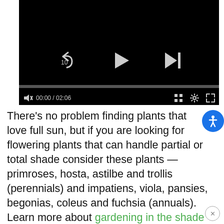[Figure (screenshot): Video player UI on black background showing rewind-10, play, and skip-next controls, a progress bar, and bottom controls with muted audio icon, time 00:00 / 02:06, grid icon, settings icon, and fullscreen icon.]
There's no problem finding plants that love full sun, but if you are looking for flowering plants that can handle partial or total shade consider these plants — primroses, hosta, astilbe and trollis (perennials) and impatiens, viola, pansies, begonias, coleus and fuchsia (annuals). Learn more about gardening in the shade here.